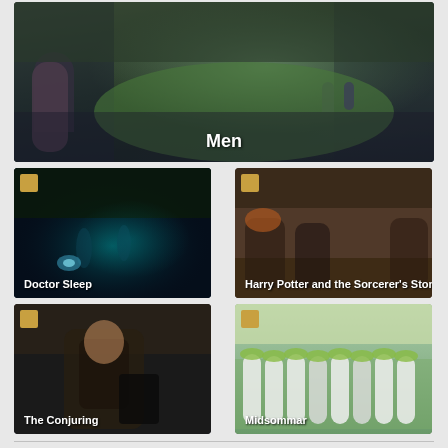[Figure (photo): Movie thumbnail for 'Men' showing a person in foreground and a distant figure on a green lawn with trees in background. Title 'Men' displayed at bottom center in white text.]
[Figure (photo): Movie thumbnail for 'Doctor Sleep' showing dark forest scene with glowing figures. Small icon top-left. Title 'Doctor Sleep' at bottom left in white text.]
[Figure (photo): Movie thumbnail for 'Harry Potter and the Sorcerer's Stone' showing Ron, Harry, and Hermione in classroom. Small icon top-left. Title at bottom in white text.]
[Figure (photo): Movie thumbnail for 'The Conjuring' showing a man in dark vest holding a book. Small icon top-left. Title 'The Conjuring' at bottom left in white text.]
[Figure (photo): Movie thumbnail for 'Midsommar' showing a procession of people in white garments with flower crowns in a bright outdoor setting. Small icon top-left. Title 'Midsommar' at bottom in white text.]